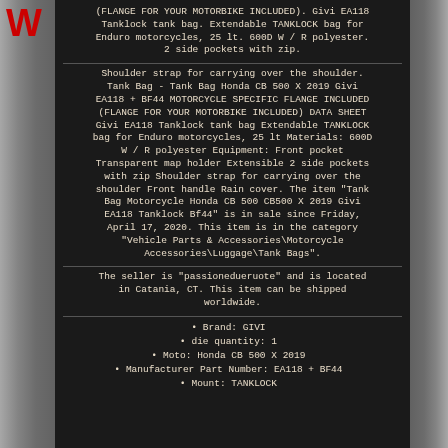(FLANGE FOR YOUR MOTORBIKE INCLUDED). Givi EA118 Tanklock tank bag. Extendable TANKLOCK bag for Enduro motorcycles, 25 lt. 600D W / R polyester. 2 side pockets with zip.
Shoulder strap for carrying over the shoulder. Tank Bag - Tank Bag Honda CB 500 X 2019 Givi EA118 + BF44 MOTORCYCLE SPECIFIC FLANGE INCLUDED (FLANGE FOR YOUR MOTORBIKE INCLUDED) DATA SHEET Givi EA118 Tanklock tank bag Extendable TANKLOCK bag for Enduro motorcycles, 25 lt Materials: 600D W / R polyester Equipment: Front pocket Transparent map holder Extensible 2 side pockets with zip Shoulder strap for carrying over the shoulder Front handle Rain cover. The item "Tank Bag Motorcycle Honda CB 500 CB500 X 2019 Givi EA118 Tanklock Bf44" is in sale since Friday, April 17, 2020. This item is in the category "Vehicle Parts & Accessories\Motorcycle Accessories\Luggage\Tank Bags".
The seller is "passionedueruote" and is located in Catania, CT. This item can be shipped worldwide.
Brand: GIVI
die quantity: 1
Moto: Honda CB 500 X 2019
Manufacturer Part Number: EA118 + BF44
Mount: TANKLOCK